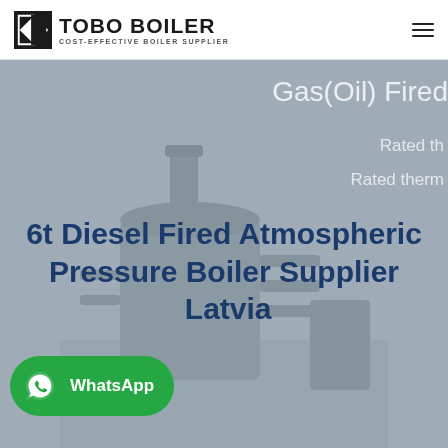[Figure (logo): TOBO BOILER logo with icon and text 'COST-EFFECTIVE BOILER SUPPLIER']
[Figure (photo): Background photo of industrial boiler unit in blue-gray tones with overlaid text 'Gas(Oil) Fired', 'Rated th...', 'Rated therm...']
6t Diesel Fired Atmospheric Pressure Boiler Supplier Latvia
[Figure (other): WhatsApp contact button with green background, WhatsApp icon, and text 'WhatsApp']